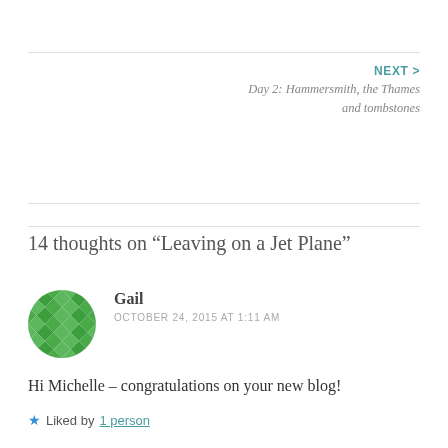NEXT > Day 2: Hammersmith, the Thames and tombstones
14 thoughts on “Leaving on a Jet Plane”
Gail
OCTOBER 24, 2015 AT 1:11 AM
Hi Michelle – congratulations on your new blog!
Liked by 1 person
Reply